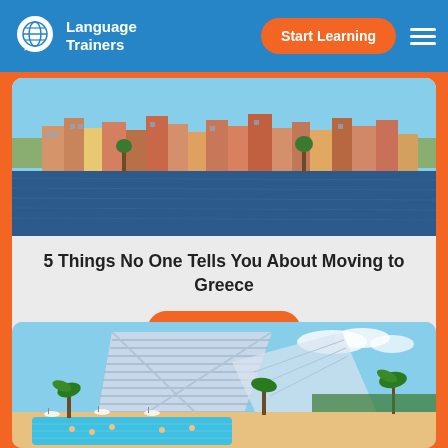Language Trainers | Start Learning
[Figure (photo): Waterfront scene with colourful buildings along a Greek harbour, blue sea water in the foreground]
5 Things No One Tells You About Moving to Greece
Read more
[Figure (photo): Luxury hotel (sail-shaped skyscraper) with a pool area surrounded by palm trees and people swimming – Dubai resort scene]